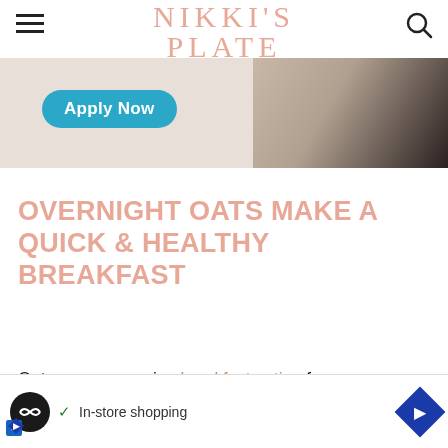NIKKI'S PLATE
[Figure (screenshot): Advertisement banner with teal 'Apply Now' button and partial photo of hands]
OVERNIGHT OATS MAKE A QUICK & HEALTHY BREAKFAST
Oats are an amazing breakfast option for many reasons. They have so many health bonuses!
[Figure (screenshot): Bottom advertisement bar with Looper logo, checkmark, 'In-store shopping' text, and blue diamond arrow icon]